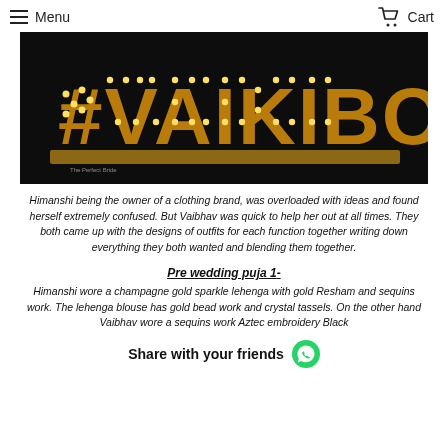Menu   Cart
[Figure (photo): Dark background with illuminated marquee-style letters spelling #VAIKIBOO in gold/amber light bulb letters]
Himanshi being the owner of a clothing brand, was overloaded with ideas and found herself extremely confused. But Vaibhav was quick to help her out at all times. They both came up with the designs of outfits for each function together writing down everything they both wanted and blending them together.
Pre wedding puja 1-
Himanshi wore a champagne gold sparkle lehenga with gold Resham and sequins work. The lehenga blouse has gold bead work and crystal tassels. On the other hand Vaibhav wore a sequins work Aztec embroidery Black
Share with your friends